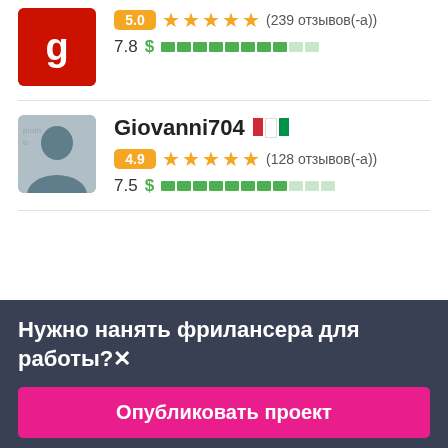[Figure (infographic): Top card: red avatar logo with stylized G, rating badge 5.0, 5 orange stars, (239 отзывов(-а)), score 7.8 with green dollar bar]
5.0 ★★★★★ (239 отзывов(-а))
7.8 $ ▓▓▓▓▓▓▓▓▓░░
[Figure (photo): Giovanni704 profile photo - man in suit]
Giovanni704 🇮🇹
4.9 ★★★★★ (128 отзывов(-а))
7.5 $ ▓▓▓▓▓▓▓▓░░░
Нужно нанять фрилансера для работы?✕
Опубликовать проект